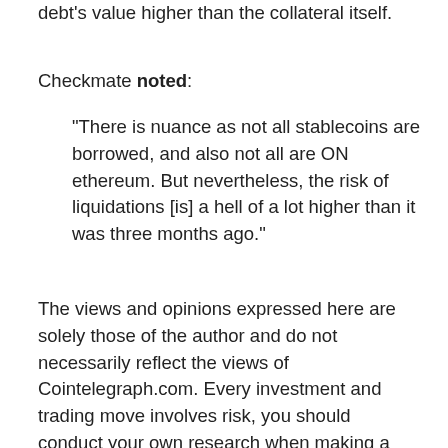debt's value higher than the collateral itself.
Checkmate noted:
“There is nuance as not all stablecoins are borrowed, and also not all are ON ethereum. But nevertheless, the risk of liquidations [is] a hell of a lot higher than it was three months ago.”
The views and opinions expressed here are solely those of the author and do not necessarily reflect the views of Cointelegraph.com. Every investment and trading move involves risk, you should conduct your own research when making a decision.